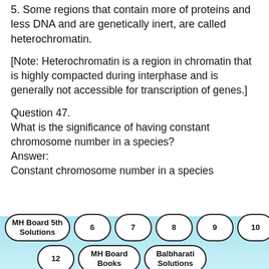5. Some regions that contain more of proteins and less DNA and are genetically inert, are called heterochromatin.
[Note: Heterochromatin is a region in chromatin that is highly compacted during interphase and is generally not accessible for transcription of genes.]
Question 47.
What is the significance of having constant chromosome number in a species?
Answer:
Constant chromosome number in a species
MH Board 5th Solutions  6  7  8  9  10  11  12  MH Board Books  Balbharati Solutions